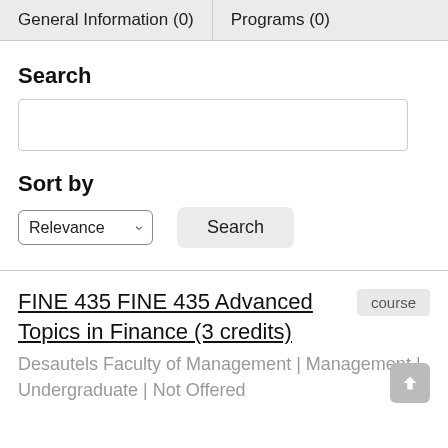General Information (0)	Programs (0)
Search
Sort by
Relevance
Search
FINE 435 FINE 435 Advanced Topics in Finance (3 credits)
course
Desautels Faculty of Management | Management | Undergraduate | Not Offered